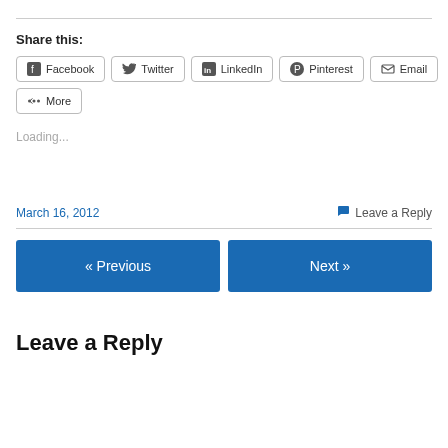Share this:
[Figure (other): Social share buttons: Facebook, Twitter, LinkedIn, Pinterest, Email, More]
Loading...
March 16, 2012
Leave a Reply
« Previous
Next »
Leave a Reply